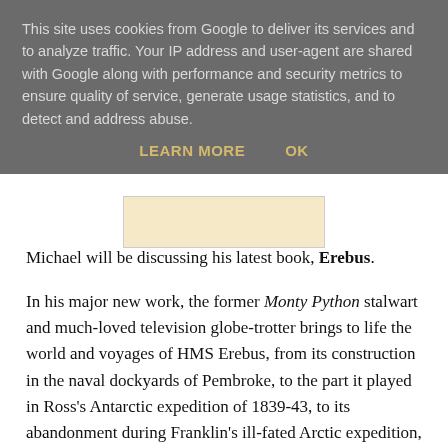This site uses cookies from Google to deliver its services and to analyze traffic. Your IP address and user-agent are shared with Google along with performance and security metrics to ensure quality of service, generate usage statistics, and to detect and address abuse.
LEARN MORE   OK
Michael will be discussing his latest book, Erebus.
In his major new work, the former Monty Python stalwart and much-loved television globe-trotter brings to life the world and voyages of HMS Erebus, from its construction in the naval dockyards of Pembroke, to the part it played in Ross's Antarctic expedition of 1839-43, to its abandonment during Franklin's ill-fated Arctic expedition, and to its final rediscovery on the seabed in Queen Maud Gulf in 2014.
Michael explores the intertwined careers of the men who shared its history across three centuries of adventure